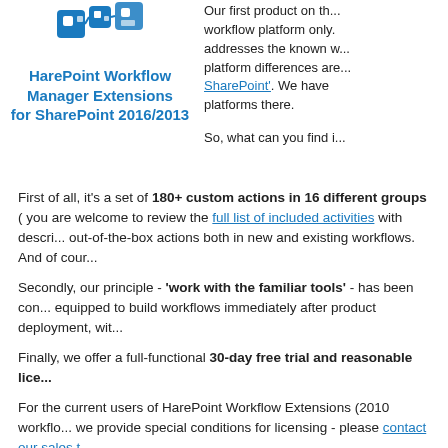[Figure (logo): HarePoint logo icon — blue Workflow Manager Extensions icon]
HarePoint Workflow Manager Extensions for SharePoint 2016/2013
Our first product on the workflow platform only. addresses the known w... platform differences are... 'SharePoint'. We have platforms there.
So, what can you find i...
First of all, it's a set of 180+ custom actions in 16 different groups ( you are welcome to review the full list of included activities with descri... out-of-the-box actions both in new and existing workflows. And of cour...
Secondly, our principle - 'work with the familiar tools' - has been con... equipped to build workflows immediately after product deployment, wit...
Finally, we offer a full-functional 30-day free trial and reasonable lice...
For the current users of HarePoint Workflow Extensions (2010 workflo... we provide special conditions for licensing - please contact our sales t...
You are welcome to find all details regarding the new product and dow... 2016 / 2013 homepage.